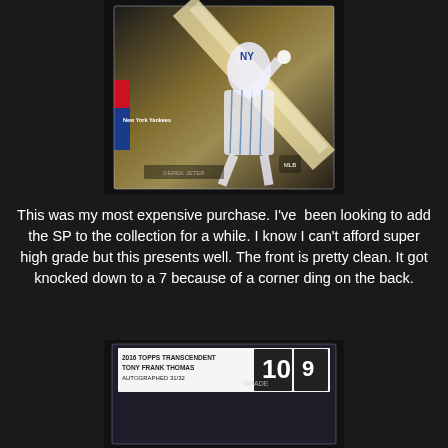[Figure (photo): A graded baseball card in a plastic case showing a New York Yankees player in pinstripes pitching, with dramatic lighting. The card has a red and blue team label reading 'New York Yankees' on the left side.]
This was my most expensive purchase. I've been looking to add the SP to the collection for a while. I know I can't afford super high grade but this presents well. The front is pretty clean. It got knocked down to a 7 because of a corner ding on the back.
[Figure (photo): A graded card in a clear protective case showing a label reading '2016 TOPPS TRANSCENDENT TONY FRANK THOMAS AUTOGRAPHED 31/32' with grades 10 and 9.]